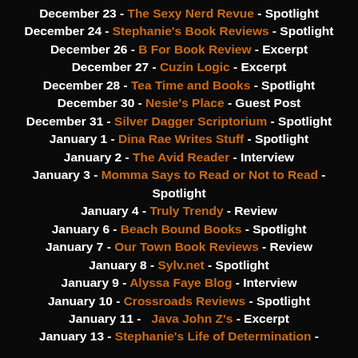December 23 - The Sexy Nerd Revue - Spotlight
December 24 - Stephanie's Book Reviews - Spotlight
December 26 - B For Book Review - Excerpt
December 27 - Cuzin Logic - Excerpt
December 28 - Tea Time and Books - Spotlight
December 30 - Nesie's Place - Guest Post
December 31 - Silver Dagger Scriptorium - Spotlight
January 1 - Dina Rae Writes Stuff - Spotlight
January 2 - The Avid Reader - Interview
January 3 - Momma Says to Read or Not to Read - Spotlight
January 4 - Truly Trendy - Review
January 6 - Beach Bound Books - Spotlight
January 7 - Our Town Book Reviews - Review
January 8 - Sylv.net - Spotlight
January 9 - Alyssa Faye Blog - Interview
January 10 - Crossroads Reviews - Spotlight
January 11 - Java John Z's - Excerpt
January 13 - Stephanie's Life of Determination -